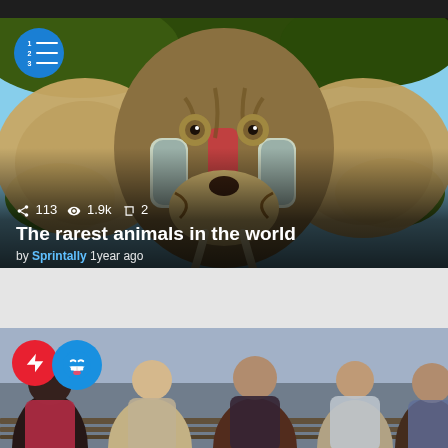[Figure (screenshot): Top navigation bar, dark background with text partially visible]
[Figure (photo): A composite animal face combining features of an elephant, mandrill/baboon, and tiger in a wildlife setting. Blue list icon with numbered lines in top-left corner.]
113   1.9k   2
The rarest animals in the world
by Sprintally 1year ago
[Figure (photo): Four young women sitting on a bench in casual/fashionable clothing. Red lightning bolt icon and blue laughing emoji icon overlay in top-left.]